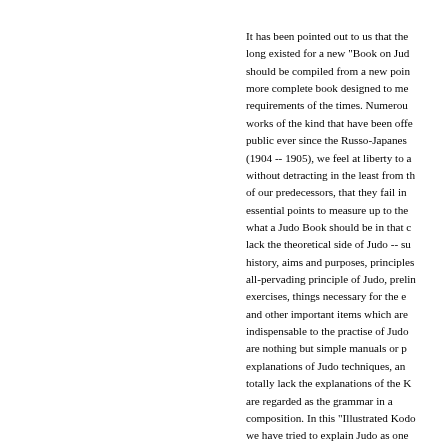It has been pointed out to us that the long existed for a new "Book on Judo" should be compiled from a new point more complete book designed to me requirements of the times. Numerous works of the kind that have been offe public ever since the Russo-Japanes (1904 -- 1905), we feel at liberty to a without detracting in the least from th of our predecessors, that they fail in essential points to measure up to the what a Judo Book should be in that lack the theoretical side of Judo -- su history, aims and purposes, principle all-pervading principle of Judo, preli exercises, things necessary for the e and other important items which are indispensable to the practise of Judo are nothing but simple manuals or p explanations of Judo techniques, an totally lack the explanations of the K are regarded as the grammar in a composition. In this "Illustrated Kodo we have tried to explain Judo as one system, and to present the most com